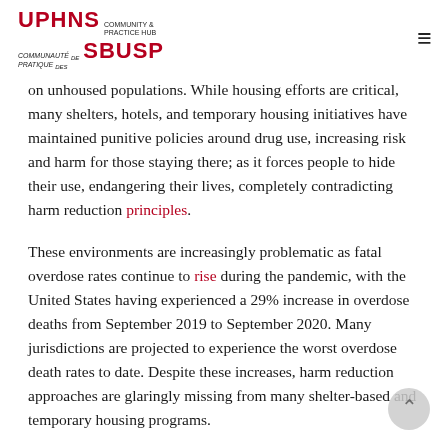UPHNS COMMUNITY & PRACTICE HUB | COMMUNAUTÉ de PRATIQUE des SBUSP
on unhoused populations. While housing efforts are critical, many shelters, hotels, and temporary housing initiatives have maintained punitive policies around drug use, increasing risk and harm for those staying there; as it forces people to hide their use, endangering their lives, completely contradicting harm reduction principles.
These environments are increasingly problematic as fatal overdose rates continue to rise during the pandemic, with the United States having experienced a 29% increase in overdose deaths from September 2019 to September 2020. Many jurisdictions are projected to experience the worst overdose death rates to date. Despite these increases, harm reduction approaches are glaringly missing from many shelter-based and temporary housing programs.